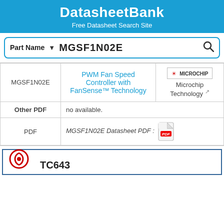DatasheetBank
Free Datasheet Search Site
Part Name ▼ MGSF1N02E
| Part | Description | Manufacturer |
| --- | --- | --- |
| MGSF1N02E | PWM Fan Speed Controller with FanSense™ Technology | Microchip Technology |
| Other PDF | no available. |  |
| PDF | MGSF1N02E Datasheet PDF : | [PDF icon] |
[Figure (logo): Microchip Technology logo with partial part number TC643 visible at bottom of page preview]